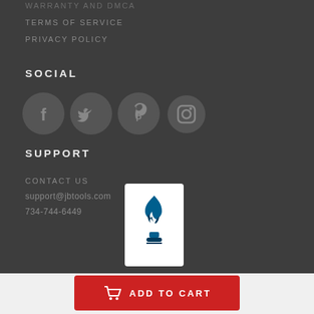WARRANTY AND DMCA
TERMS OF SERVICE
PRIVACY POLICY
SOCIAL
[Figure (illustration): Four social media icons in grey circles: Facebook, Twitter, Pinterest, Instagram]
SUPPORT
CONTACT US
support@jbtools.com
734-744-6449
[Figure (logo): Better Business Bureau (BBB) logo badge on white background]
ADD TO CART